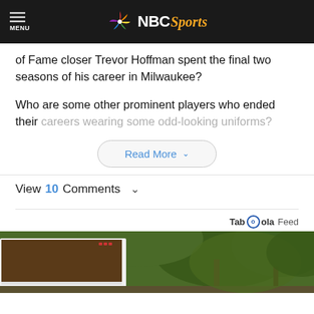NBC Sports
of Fame closer Trevor Hoffman spent the final two seasons of his career in Milwaukee?
Who are some other prominent players who ended their careers wearing some odd-looking uniforms?
Read More
View 10 Comments
Taboola Feed
[Figure (photo): Outdoor scene with a white truck/trailer and green foliage/trees in background]